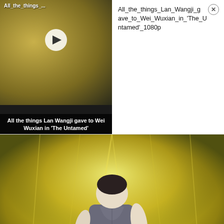[Figure (screenshot): Video thumbnail showing two characters from 'The Untamed' with a play button and title overlay: 'All the things Lan Wangji gave to Wei Wuxian in The Untamed']
All_the_things_Lan_Wangji_gave_to_Wei_Wuxian_in_'The_Untamed'_1080p
[Figure (screenshot): Anime screenshot from Dragon Ball Super: Super Hero showing an animated character from behind with a yellow energy aura background]
Watch “Dragon Ball Super: Super Hero” Free Online Streaming in Australia and New Zealand
Film Daily
[Figure (screenshot): Bottom strip showing two partial images of people at computer workstations]